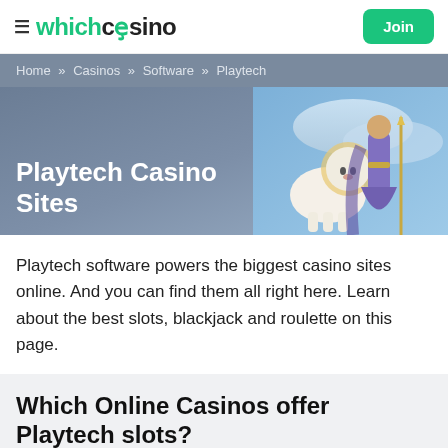whichcasino | Join
Home » Casinos » Software » Playtech
Playtech Casino Sites
[Figure (illustration): Fantasy illustration of a white lion and a wizard/warrior character against a blue sky background]
Playtech software powers the biggest casino sites online. And you can find them all right here. Learn about the best slots, blackjack and roulette on this page.
Which Online Casinos offer Playtech slots?